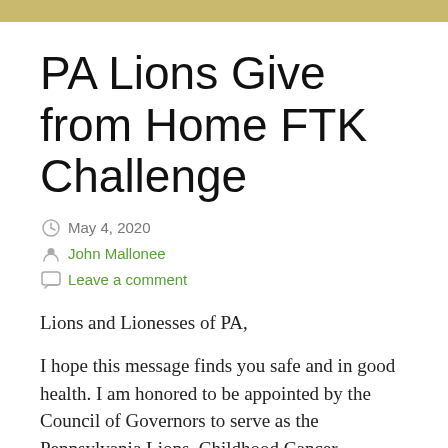PA Lions Give from Home FTK Challenge
May 4, 2020
John Mallonee
Leave a comment
Lions and Lionesses of PA,
I hope this message finds you safe and in good health.  I am honored to be appointed by the Council of Governors to serve as the Pennsylvania Lions, Childhood Cancer Coordinator. I look forward to participating and t...